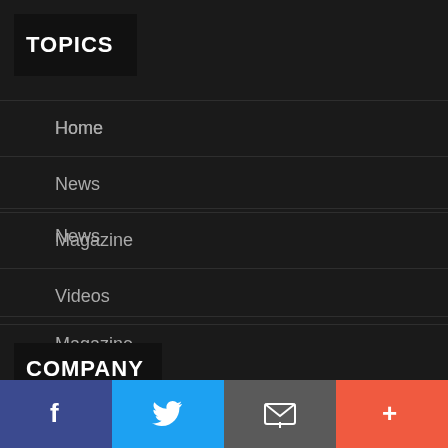TOPICS
Home
News
Magazine
Videos
Blogs
COMPANY
[Figure (infographic): Bottom social share bar with Facebook, Twitter, email, and more (+) buttons]